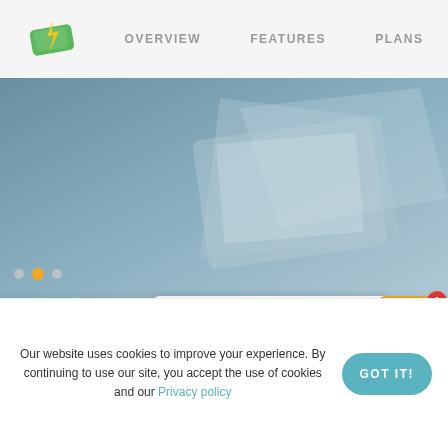[Figure (screenshot): Website navigation header with green money/lightning logo on left, and nav links OVERVIEW, FEATURES, PLANS in grey uppercase text]
[Figure (photo): Hero banner image with blueish-grey abstract background, carousel dots (orange active dot, grey inactive dot) on left side]
Hi There! Would you like to collect payments faster?
Awards & accolades from
Our website uses cookies to improve your experience. By continuing to use our site, you accept the use of cookies and our Privacy policy
GOT IT!